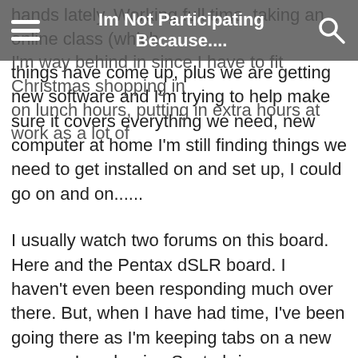Im Not Participating Because....
things have come up, plus we are getting new software and I'm trying to help make sure it covers everything we need, new computer at home I'm still finding things we need to get installed on and set up, I could go on and on......
I usually watch two forums on this board. Here and the Pentax dSLR board. I haven't even been responding much over there. But, when I have had time, I've been going there as I'm keeping tabs on a new camera I am hoping Santa brings me.
When I do remember there's a new challenge here, I realize it's a tough one as I haven't cooked anything in traditional holiday fare in the past week. Maybe more Christmas weekend since I've got four days off from work. (Although, if the challenge isn't extended, that won't work either.) Or, maybe I need to spend more time looking at what's being posted and maybe I'm interpreting the challenge incorrectly